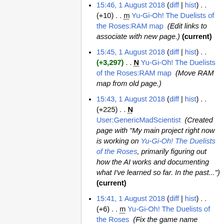15:46, 1 August 2018 (diff | hist) . . (+10) . . m Yu-Gi-Oh! The Duelists of the Roses:RAM map (Edit links to associate with new page.) (current)
15:45, 1 August 2018 (diff | hist) . . (+3,297) . . N Yu-Gi-Oh! The Duelists of the Roses:RAM map (Move RAM map from old page.)
15:43, 1 August 2018 (diff | hist) . . (+225) . . N User:GenericMadScientist (Created page with "My main project right now is working on Yu-Gi-Oh! The Duelists of the Roses, primarily figuring out how the AI works and documenting what I've learned so far. In the past...") (current)
15:41, 1 August 2018 (diff | hist) . . (+6) . . m Yu-Gi-Oh! The Duelists of the Roses (Fix the game name...)